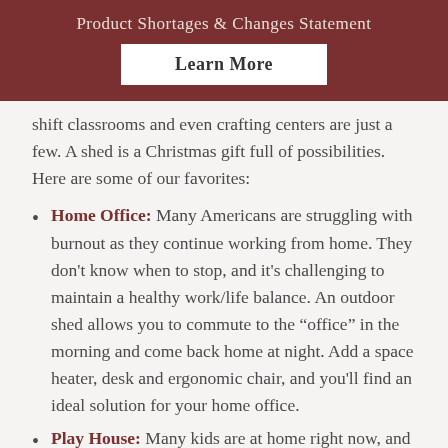Product Shortages & Changes Statement
Learn More
shift classrooms and even crafting centers are just a few. A shed is a Christmas gift full of possibilities. Here are some of our favorites:
Home Office: Many Americans are struggling with burnout as they continue working from home. They don't know when to stop, and it's challenging to maintain a healthy work/life balance. An outdoor shed allows you to commute to the “office” in the morning and come back home at night. Add a space heater, desk and ergonomic chair, and you'll find an ideal solution for your home office.
Play House: Many kids are at home right now, and a shed can be a really fun place to escape to.